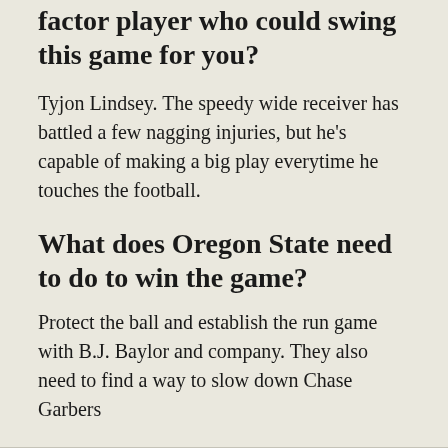factor player who could swing this game for you?
Tyjon Lindsey. The speedy wide receiver has battled a few nagging injuries, but he's capable of making a big play everytime he touches the football.
What does Oregon State need to do to win the game?
Protect the ball and establish the run game with B.J. Baylor and company. They also need to find a way to slow down Chase Garbers
What does Cal need to do to win the game?